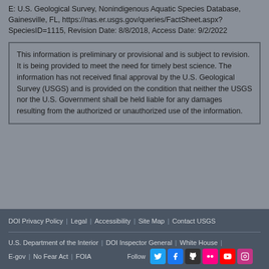E: U.S. Geological Survey, Nonindigenous Aquatic Species Database, Gainesville, FL, https://nas.er.usgs.gov/queries/FactSheet.aspx?SpeciesID=1115, Revision Date: 8/8/2018, Access Date: 9/2/2022
This information is preliminary or provisional and is subject to revision. It is being provided to meet the need for timely best science. The information has not received final approval by the U.S. Geological Survey (USGS) and is provided on the condition that neither the USGS nor the U.S. Government shall be held liable for any damages resulting from the authorized or unauthorized use of the information.
DOI Privacy Policy | Legal | Accessibility | Site Map | Contact USGS | U.S. Department of the Interior | DOI Inspector General | White House | E-gov | No Fear Act | FOIA | Follow